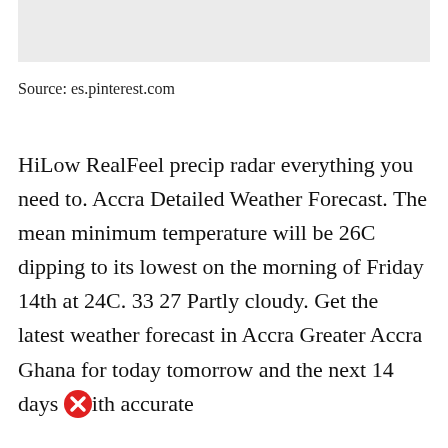[Figure (other): Light gray placeholder image area at top of page]
Source: es.pinterest.com
HiLow RealFeel precip radar everything you need to. Accra Detailed Weather Forecast. The mean minimum temperature will be 26C dipping to its lowest on the morning of Friday 14th at 24C. 33 27 Partly cloudy. Get the latest weather forecast in Accra Greater Accra Ghana for today tomorrow and the next 14 days with accurate